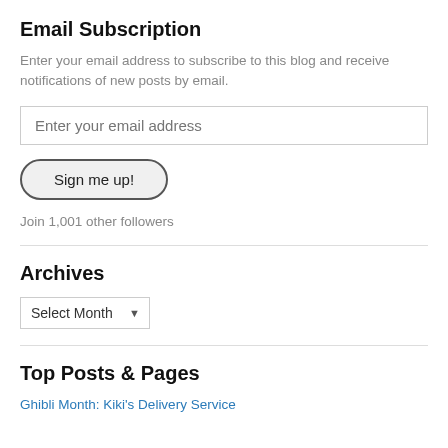Email Subscription
Enter your email address to subscribe to this blog and receive notifications of new posts by email.
Enter your email address
Sign me up!
Join 1,001 other followers
Archives
Select Month
Top Posts & Pages
Ghibli Month: Kiki's Delivery Service